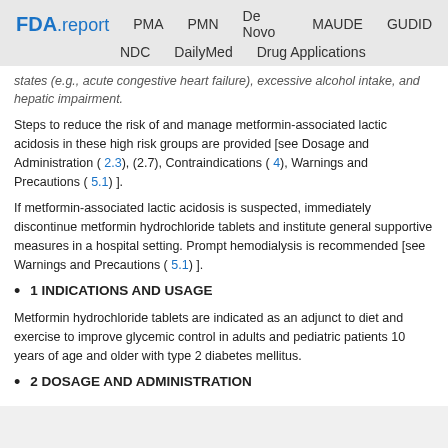FDA.report  PMA  PMN  De Novo  MAUDE  GUDID  NDC  DailyMed  Drug Applications
states (e.g., acute congestive heart failure), excessive alcohol intake, and hepatic impairment.
Steps to reduce the risk of and manage metformin-associated lactic acidosis in these high risk groups are provided [see Dosage and Administration ( 2.3), (2.7), Contraindications ( 4), Warnings and Precautions ( 5.1) ].
If metformin-associated lactic acidosis is suspected, immediately discontinue metformin hydrochloride tablets and institute general supportive measures in a hospital setting. Prompt hemodialysis is recommended [see Warnings and Precautions ( 5.1) ].
1 INDICATIONS AND USAGE
Metformin hydrochloride tablets are indicated as an adjunct to diet and exercise to improve glycemic control in adults and pediatric patients 10 years of age and older with type 2 diabetes mellitus.
2 DOSAGE AND ADMINISTRATION